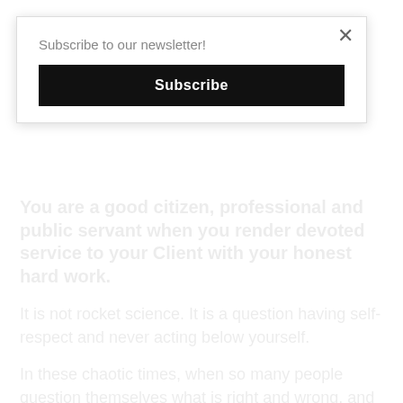Subscribe to our newsletter!
Subscribe
You are a good citizen, professional and public servant when you render devoted service to your Client with your honest hard work.
It is not rocket science. It is a question having self-respect and never acting below yourself.
In these chaotic times, when so many people question themselves what is right and wrong, and it is difficult to find strong direction and leadership out there, it is up to us to be rock,  moral compass and role model to those we love, and to those we serve. We all have it in us, and it is about time to show it and be true to one another.
Taking the high road in trying times is choosing to be loyal to your true nature. It happens when you choose to be and to remain a good, reliable and decent human being, despite all